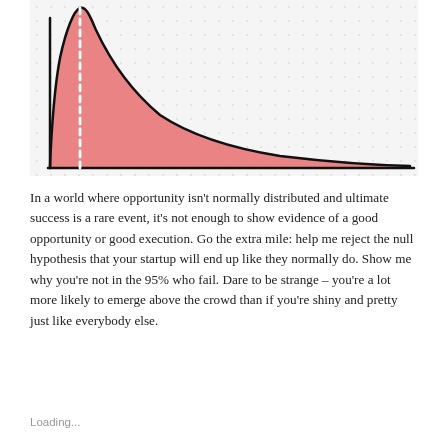[Figure (continuous-plot): Hand-drawn sketch of a power-law / long-tail distribution curve on dot-grid paper. The curve is filled with red/pink shading and has a dashed vertical line near the peak on the left side. The curve rises steeply to a peak near the left, then falls gradually to the right forming a long tail.]
In a world where opportunity isn't normally distributed and ultimate success is a rare event, it's not enough to show evidence of a good opportunity or good execution. Go the extra mile: help me reject the null hypothesis that your startup will end up like they normally do. Show me why you're not in the 95% who fail. Dare to be strange – you're a lot more likely to emerge above the crowd than if you're shiny and pretty just like everybody else.
Loading...